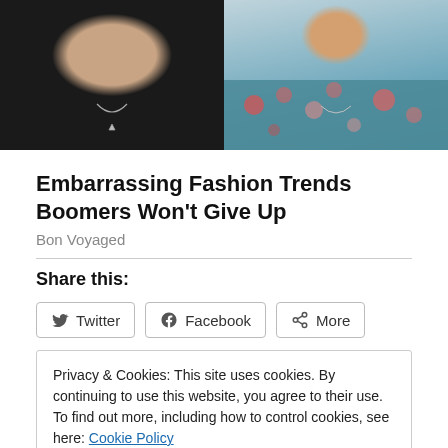[Figure (photo): Two women shown from shoulders up side by side. Left woman wears black top with silver necklace. Right woman wears floral teal/pink top with necklace.]
Embarrassing Fashion Trends Boomers Won't Give Up
Bon Voyaged
Share this:
Privacy & Cookies: This site uses cookies. By continuing to use this website, you agree to their use.
To find out more, including how to control cookies, see here: Cookie Policy
Close and accept
Beef is Killing the Planet... and Elvis is Riding a Rainbow-